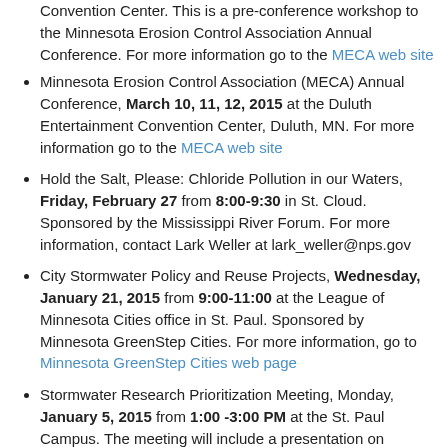Convention Center. This is a pre-conference workshop to the Minnesota Erosion Control Association Annual Conference. For more information go to the MECA web site
Minnesota Erosion Control Association (MECA) Annual Conference, March 10, 11, 12, 2015 at the Duluth Entertainment Convention Center, Duluth, MN. For more information go to the MECA web site
Hold the Salt, Please: Chloride Pollution in our Waters, Friday, February 27 from 8:00-9:30 in St. Cloud. Sponsored by the Mississippi River Forum. For more information, contact Lark Weller at lark_weller@nps.gov
City Stormwater Policy and Reuse Projects, Wednesday, January 21, 2015 from 9:00-11:00 at the League of Minnesota Cities office in St. Paul. Sponsored by Minnesota GreenStep Cities. For more information, go to Minnesota GreenStep Cities web page
Stormwater Research Prioritization Meeting, Monday, January 5, 2015 from 1:00 -3:00 PM at the St. Paul Campus. The meeting will include a presentation on background and present state of stormwater research and a facilitated discussion to get input from stormwater professionals. For more information, contact Mary Dieltz at the University of Minnesota at erosion@umn.edu